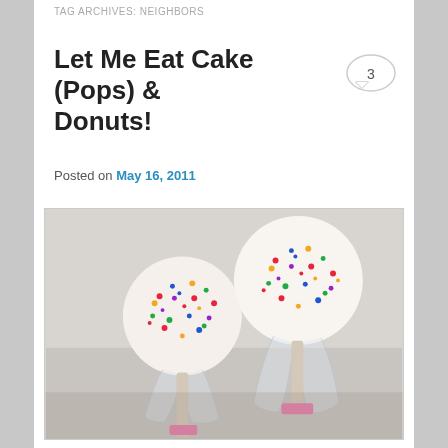TAG ARCHIVES: NEIGHBORS
Let Me Eat Cake (Pops) & Donuts!
Posted on May 16, 2011
[Figure (photo): Two cake pops covered in colorful sprinkles, wrapped in clear cellophane tied with pink ribbon, set against a light background.]